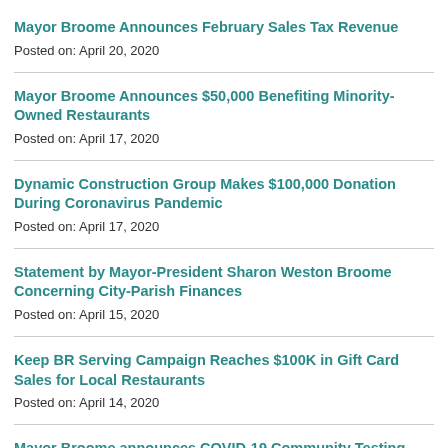Mayor Broome Announces February Sales Tax Revenue
Posted on: April 20, 2020
Mayor Broome Announces $50,000 Benefiting Minority-Owned Restaurants
Posted on: April 17, 2020
Dynamic Construction Group Makes $100,000 Donation During Coronavirus Pandemic
Posted on: April 17, 2020
Statement by Mayor-President Sharon Weston Broome Concerning City-Parish Finances
Posted on: April 15, 2020
Keep BR Serving Campaign Reaches $100K in Gift Card Sales for Local Restaurants
Posted on: April 14, 2020
Mayor Broome announces COVID-19 Community Testing Site will be